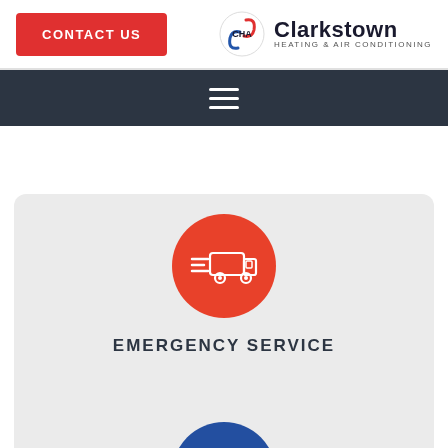[Figure (logo): Contact Us button (red) and Clarkstown Heating & Air Conditioning logo with CHA swirl icon]
[Figure (other): Dark navy hamburger menu navigation bar with three horizontal white lines]
[Figure (infographic): Light gray card section with red circle containing a speeding delivery truck icon, labeled EMERGENCY SERVICE, and a blue circle at the bottom with a document/page icon]